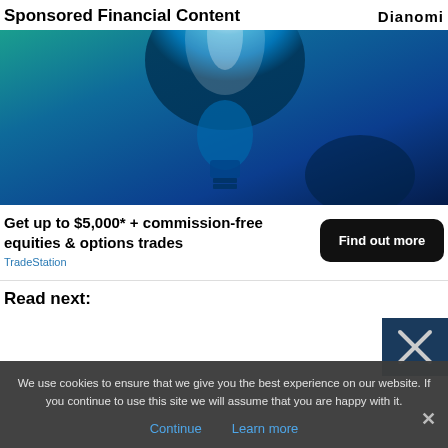Sponsored Financial Content
[Figure (photo): A glowing blue light bulb against a dark blue and teal gradient background, emitting bright white-blue light from the top.]
Get up to $5,000* + commission-free equities & options trades
Find out more
TradeStation
Read next:
[Figure (photo): Small thumbnail image with dark blue background and an X close button overlay.]
We use cookies to ensure that we give you the best experience on our website. If you continue to use this site we will assume that you are happy with it.
Continue
Learn more